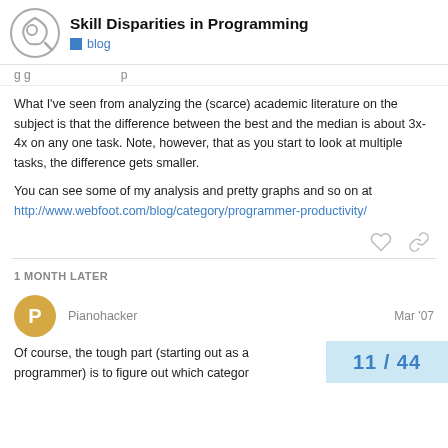Skill Disparities in Programming — blog
g g p
What I've seen from analyzing the (scarce) academic literature on the subject is that the difference between the best and the median is about 3x-4x on any one task. Note, however, that as you start to look at multiple tasks, the difference gets smaller.
You can see some of my analysis and pretty graphs and so on at http://www.webfoot.com/blog/category/programmer-productivity/
1 MONTH LATER
Pianohacker — Mar '07
Of course, the tough part (starting out as a programmer) is to figure out which categor